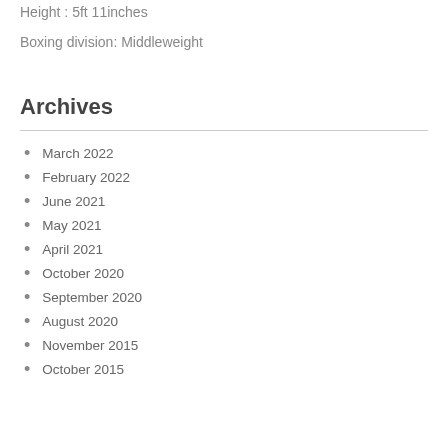Height : 5ft 11inches
Boxing division: Middleweight
Archives
March 2022
February 2022
June 2021
May 2021
April 2021
October 2020
September 2020
August 2020
November 2015
October 2015